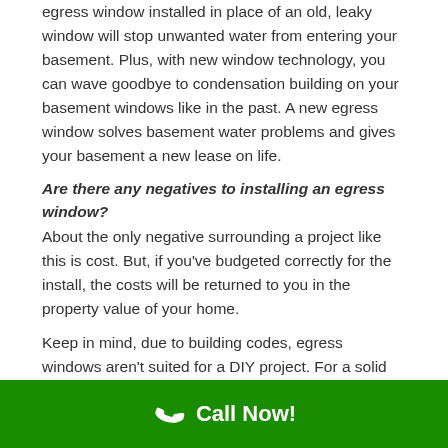egress window installed in place of an old, leaky window will stop unwanted water from entering your basement. Plus, with new window technology, you can wave goodbye to condensation building on your basement windows like in the past. A new egress window solves basement water problems and gives your basement a new lease on life.
Are there any negatives to installing an egress window?
About the only negative surrounding a project like this is cost. But, if you've budgeted correctly for the install, the costs will be returned to you in the property value of your home.
Keep in mind, due to building codes, egress windows aren't suited for a DIY project. For a solid build, one that is up to code and follows all standards, it is highly
Call Now!